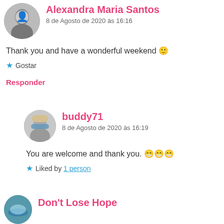Alexandra Maria Santos
8 de Agosto de 2020 às 16:16
Thank you and have a wonderful weekend 🙂
★ Gostar
Responder
buddy71
8 de Agosto de 2020 às 16:19
You are welcome and thank you. 😁😁😁
★ Liked by 1 person
Don't Lose Hope